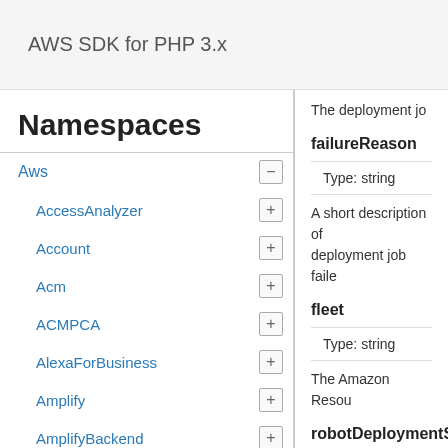AWS SDK for PHP 3.x
Namespaces
Aws
AccessAnalyzer
Account
Acm
ACMPCA
AlexaForBusiness
Amplify
AmplifyBackend
AmplifyUIBuilder
Api
ApiGateway
ApiGatewayManagementApi
The deployment jo
failureReason
Type: string
A short description of deployment job faile
fleet
Type: string
The Amazon Resou
robotDeploymentSumma